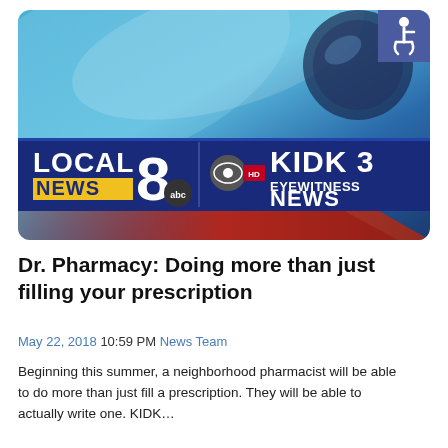[Figure (logo): Local 8 News ABC and KIDK 3 Eyewitness News station logo banner on a blue and red broadcast background, with an accessibility icon badge in the top right corner]
Dr. Pharmacy: Doing more than just filling your prescription
May 22, 2018 10:59 PM News Team
Beginning this summer, a neighborhood pharmacist will be able to do more than just fill a prescription. They will be able to actually write one. KIDK…